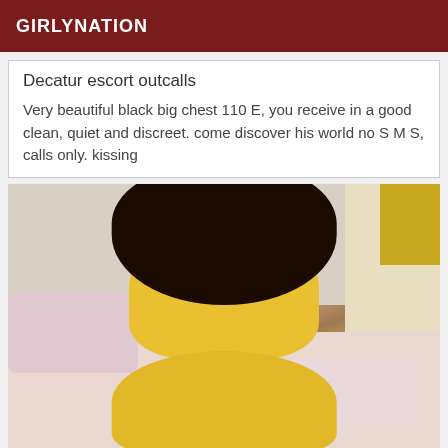GIRLYNATION
Decatur escort outcalls
Very beautiful black big chest 110 E, you receive in a good clean, quiet and discreet. come discover his world no S M S, calls only. kissing
[Figure (photo): Woman with long curly black hair wearing yellow lace outfit, sitting on a bed with pink floral pillows, viewed from behind]